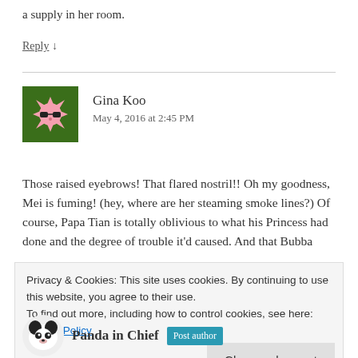a supply in her room.
Reply ↓
Gina Koo
May 4, 2016 at 2:45 PM
Those raised eyebrows! That flared nostril!! Oh my goodness, Mei is fuming! (hey, where are her steaming smoke lines?) Of course, Papa Tian is totally oblivious to what his Princess had done and the degree of trouble it'd caused. And that Buba...
Privacy & Cookies: This site uses cookies. By continuing to use this website, you agree to their use.
To find out more, including how to control cookies, see here: Cookie Policy
Close and accept
Panda in Chief  Post author